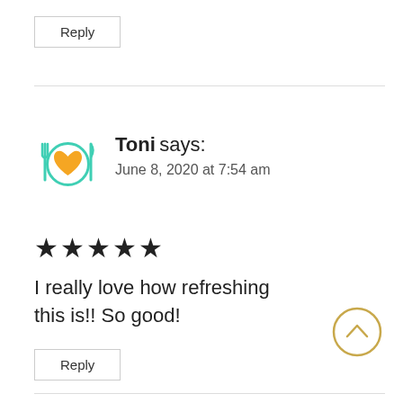Reply
[Figure (illustration): Food blog avatar: teal fork and knife on either side of a circular plate with an orange heart in the center]
Toni says:
June 8, 2020 at 7:54 am
★★★★★
I really love how refreshing this is!! So good!
Reply